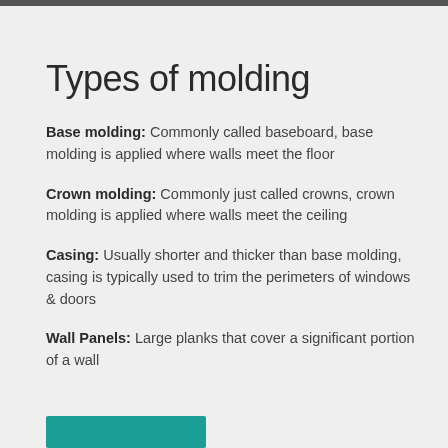Types of molding
Base molding: Commonly called baseboard, base molding is applied where walls meet the floor
Crown molding: Commonly just called crowns, crown molding is applied where walls meet the ceiling
Casing: Usually shorter and thicker than base molding, casing is typically used to trim the perimeters of windows & doors
Wall Panels: Large planks that cover a significant portion of a wall